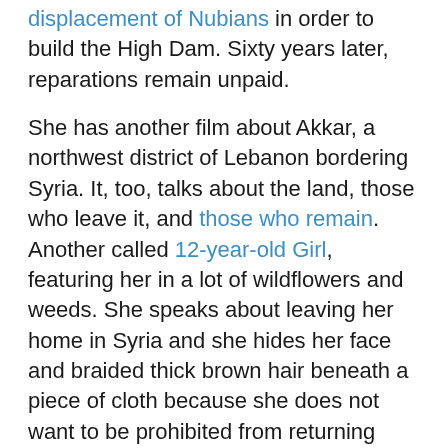displacement of Nubians in order to build the High Dam. Sixty years later, reparations remain unpaid.
She has another film about Akkar, a northwest district of Lebanon bordering Syria. It, too, talks about the land, those who leave it, and those who remain. Another called 12-year-old Girl, featuring her in a lot of wildflowers and weeds. She speaks about leaving her home in Syria and she hides her face and braided thick brown hair beneath a piece of cloth because she does not want to be prohibited from returning when she eventually returns. Another one films Tarek writing a poem about Um Mohamed's domestic life in the midst of war.
غسيل وسخ / اكوام نهاية / الاسبوع /على رأسها / قدر الغسيلي / خرجت / الى الشمس
And this relates to her collaboration with the director...